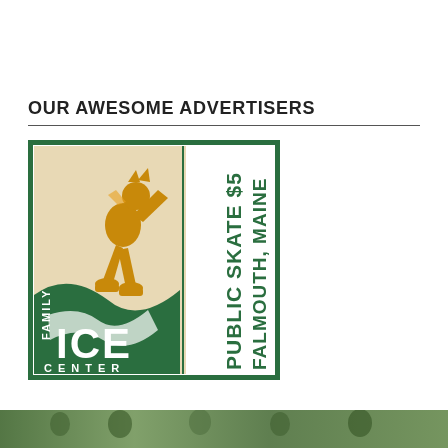OUR AWESOME ADVERTISERS
[Figure (logo): Family Ice Center logo with figure skater illustration, reading PUBLIC SKATE $5, FALMOUTH, MAINE. Green bordered square with beige and dark green background, orange ice skater silhouette, with FAMILY ICE CENTER text and CENTER spelled out at bottom.]
[Figure (photo): Partial photo strip at bottom of page showing group of people outdoors.]